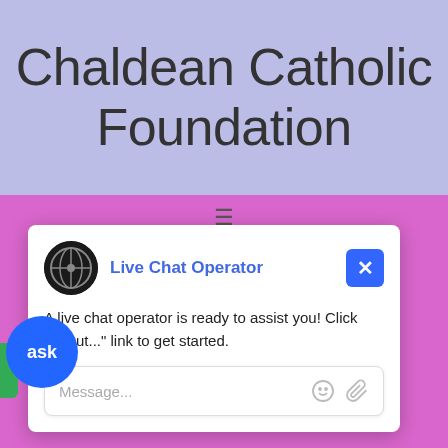Chaldean Catholic Foundation
[Figure (screenshot): Live Chat Operator popup widget with avatar, operator name in blue, close button, message text, and message input box with emoji and attachment icons]
threat
ask
Kurdis